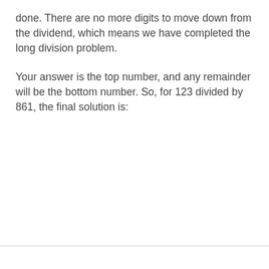done. There are no more digits to move down from the dividend, which means we have completed the long division problem.
Your answer is the top number, and any remainder will be the bottom number. So, for 123 divided by 861, the final solution is: